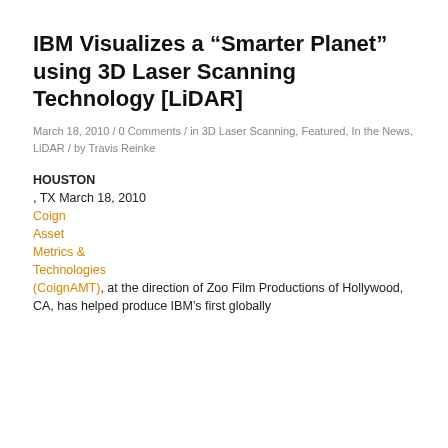IBM Visualizes a “Smarter Planet” using 3D Laser Scanning Technology [LiDAR]
March 18, 2010 / 0 Comments / in 3D Laser Scanning, Featured, In the News, LiDAR / by Travis Reinke
HOUSTON, TX March 18, 2010 Coign Asset Metrics & Technologies (CoignAMT), at the direction of Zoo Film Productions of Hollywood, CA, has helped produce IBM’s first globally